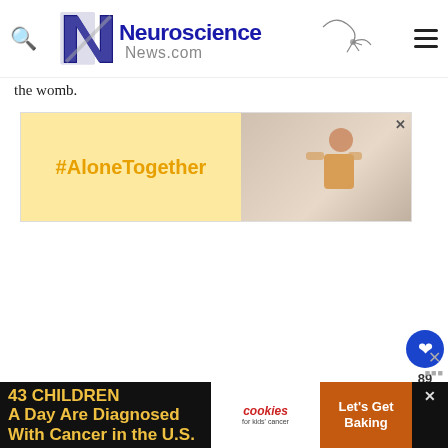[Figure (logo): Neuroscience News.com website header logo with search icon and hamburger menu]
the womb.
[Figure (screenshot): #AloneTogether advertisement banner with yellow background and person image]
[Figure (infographic): Social sidebar with like button (heart icon), count 89, and share button]
[Figure (screenshot): Bottom advertisement: 43 Children A Day Are Diagnosed With Cancer in the U.S. - cookies for kids cancer Let's Get Baking]